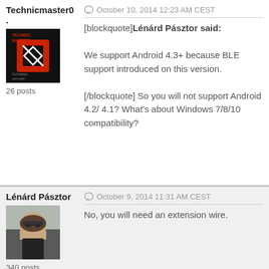Technicmaster0 .
[Figure (logo): Technic Master avatar logo - black background with red and white logo]
26 posts
October 10, 2014 12:23 AM CEST
[blockquote]Lénárd Pásztor said:

We support Android 4.3+ because BLE support introduced on this version.

[/blockquote]

So you will not support Android 4.2/ 4.1? What's about Windows 7/8/10 compatibility?
Lénárd Pásztor
[Figure (photo): Photo of Lénárd Pásztor - man with sunglasses outdoors]
340 posts
October 9, 2014 11:31 AM CEST
No, you will need an extension wire.
Norman Bauer
October 9, 2014 8:06 AM CEST